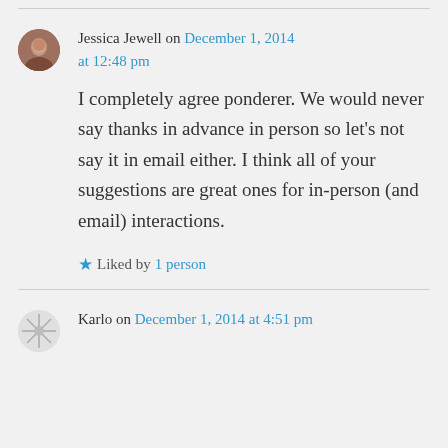Jessica Jewell on December 1, 2014 at 12:48 pm
I completely agree ponderer. We would never say thanks in advance in person so let's not say it in email either. I think all of your suggestions are great ones for in-person (and email) interactions.
Liked by 1 person
Karlo on December 1, 2014 at 4:51 pm